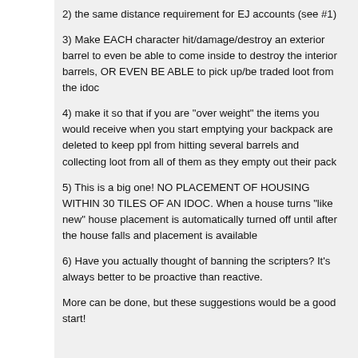2) the same distance requirement for EJ accounts (see #1)
3) Make EACH character hit/damage/destroy an exterior barrel to even be able to come inside to destroy the interior barrels, OR EVEN BE ABLE to pick up/be traded loot from the idoc
4) make it so that if you are "over weight" the items you would receive when you start emptying your backpack are deleted to keep ppl from hitting several barrels and collecting loot from all of them as they empty out their pack
5) This is a big one! NO PLACEMENT OF HOUSING WITHIN 30 TILES OF AN IDOC. When a house turns "like new" house placement is automatically turned off until after the house falls and placement is available
6) Have you actually thought of banning the scripters? It's always better to be proactive than reactive.
More can be done, but these suggestions would be a good start!